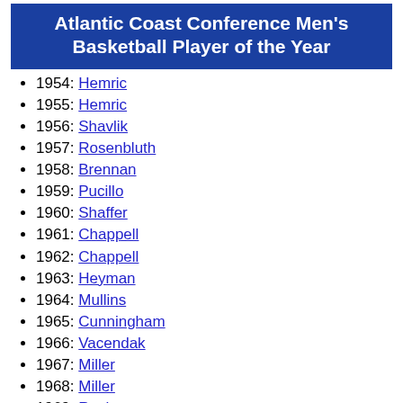Atlantic Coast Conference Men's Basketball Player of the Year
1954: Hemric
1955: Hemric
1956: Shavlik
1957: Rosenbluth
1958: Brennan
1959: Pucillo
1960: Shaffer
1961: Chappell
1962: Chappell
1963: Heyman
1964: Mullins
1965: Cunningham
1966: Vacendak
1967: Miller
1968: Miller
1969: Roche
1970: Roche
1971: Davis
1972: Parkhill
1973: Thompson
1974: Thompson
1975: Thompson
1976: Kupchak